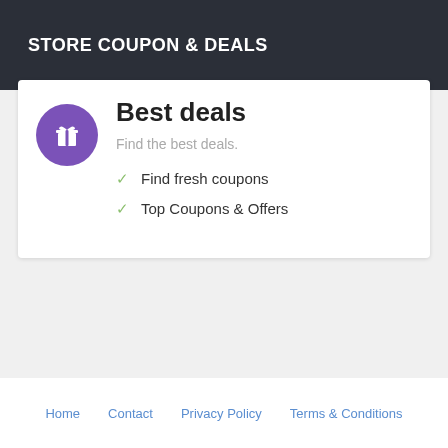STORE COUPON & DEALS
Best deals
Find the best deals.
Find fresh coupons
Top Coupons & Offers
Home   Contact   Privacy Policy   Terms & Conditions